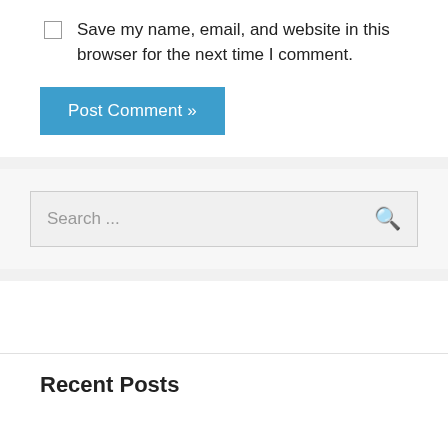Save my name, email, and website in this browser for the next time I comment.
Post Comment »
Search ...
Recent Posts